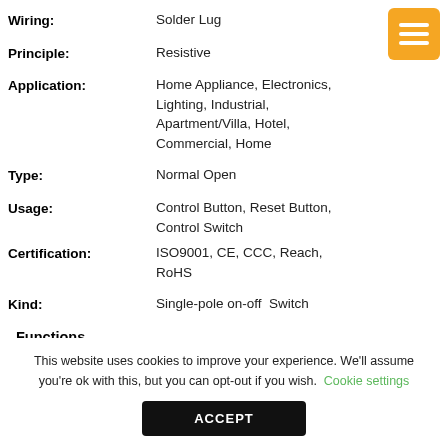Wiring: Solder Lug
Principle: Resistive
Application: Home Appliance, Electronics, Lighting, Industrial, Apartment/Villa, Hotel, Commercial, Home
Type: Normal Open
Usage: Control Button, Reset Button, Control Switch
Certification: ISO9001, CE, CCC, Reach, RoHS
Kind: Single-pole on-off Switch
Functions
This website uses cookies to improve your experience. We'll assume you're ok with this, but you can opt-out if you wish. Cookie settings ACCEPT